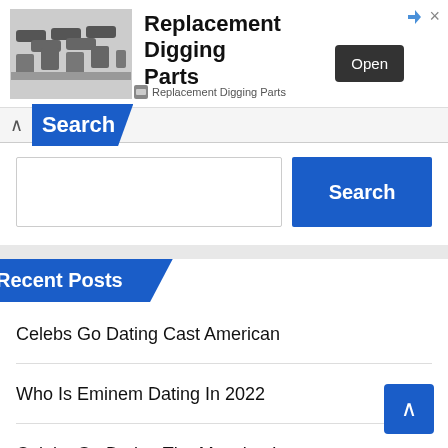[Figure (screenshot): Advertisement banner for Replacement Digging Parts with image of chain parts, Open button, and close icons]
Search
[Figure (screenshot): Search input field with Search button]
Recent Posts
Celebs Go Dating Cast American
Who Is Eminem Dating In 2022
Celebs Go Dating The Mansion Is...